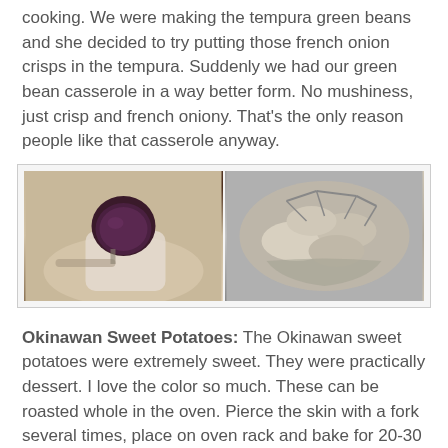cooking. We were making the tempura green beans and she decided to try putting those french onion crisps in the tempura. Suddenly we had our green bean casserole in a way better form. No mushiness, just crisp and french oniony. That's the only reason people like that casserole anyway.
[Figure (photo): Two food photos side by side: left shows a purple/dark Okinawan sweet potato in a white bowl, right shows raw Okinawan sweet potatoes in a wire basket]
Okinawan Sweet Potatoes: The Okinawan sweet potatoes were extremely sweet. They were practically dessert. I love the color so much. These can be roasted whole in the oven. Pierce the skin with a fork several times, place on oven rack and bake for 20-30 minutes until soft (no need to wrap in foil or anything). Remove skins and mash in a bowl with butter and a bit of milk (if you desire it to be a little softer).
[Figure (photo): Two food photos side by side at the bottom of the page, partially visible: left shows a green dish, right shows a colorful dish]